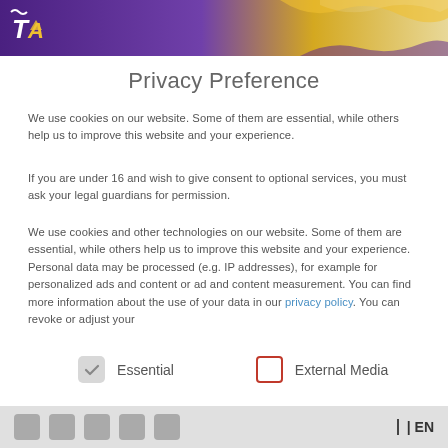[Figure (logo): Purple and gold branded header banner with logo top-left]
Privacy Preference
We use cookies on our website. Some of them are essential, while others help us to improve this website and your experience.
If you are under 16 and wish to give consent to optional services, you must ask your legal guardians for permission.
We use cookies and other technologies on our website. Some of them are essential, while others help us to improve this website and your experience. Personal data may be processed (e.g. IP addresses), for example for personalized ads and content or ad and content measurement. You can find more information about the use of your data in our privacy policy. You can revoke or adjust your
Essential
External Media
Social icons | EN